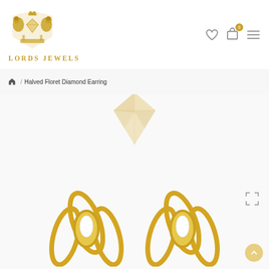[Figure (logo): Lords Jewels heraldic crest logo with two lions flanking a shield with diamond, golden color, with text LORDS JEWELS below]
Navigation icons: wishlist heart, cart (0), hamburger menu
/ Halved Floret Diamond Earring
[Figure (illustration): Golden diamond gemstone watermark illustration, center top of product area]
[Figure (photo): Two gold Halved Floret Diamond Earrings with pear-shaped diamonds set in gold floral leaf settings, shown from front, partially cropped at bottom of page]